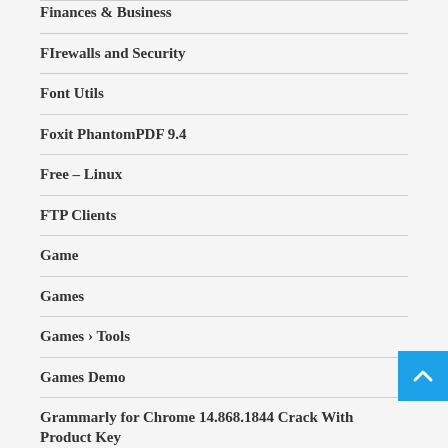Finances & Business
FIrewalls and Security
Font Utils
Foxit PhantomPDF 9.4
Free – Linux
FTP Clients
Game
Games
Games › Tools
Games Demo
Grammarly for Chrome 14.868.1844 Crack With Product Key
Graphic